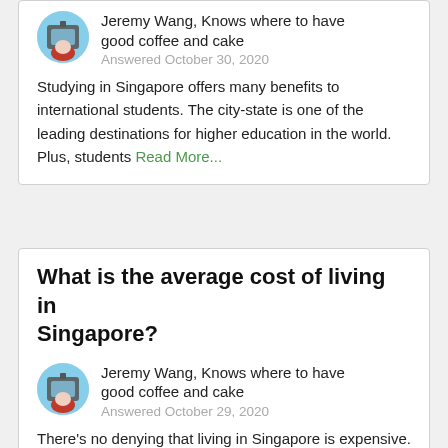Jeremy Wang, Knows where to have good coffee and cake
Answered October 30, 2020
Studying in Singapore offers many benefits to international students. The city-state is one of the leading destinations for higher education in the world. Plus, students Read More...
What is the average cost of living in Singapore?
Jeremy Wang, Knows where to have good coffee and cake
Answered October 29, 2020
There's no denying that living in Singapore is expensive. Still, with the average salary and budget-conscious behavior, most people live well in the island nation. Read More...